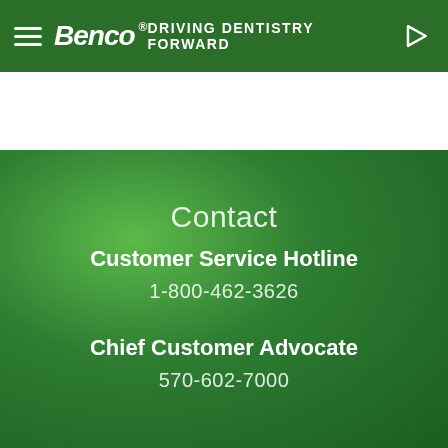[Figure (logo): Benco Dental top navigation bar with hamburger menu, Benco logo in white italic text, and 'DRIVING DENTISTRY FORWARD' text with arrow on dark green background]
[Figure (logo): Benco Dental secondary navigation bar on white background with Benco logo in blue and 'The Lucy Hobbs Project' text in green, with hamburger menu on right]
Contact
Customer Service Hotline
1-800-462-3626
Chief Customer Advocate
570-602-7000